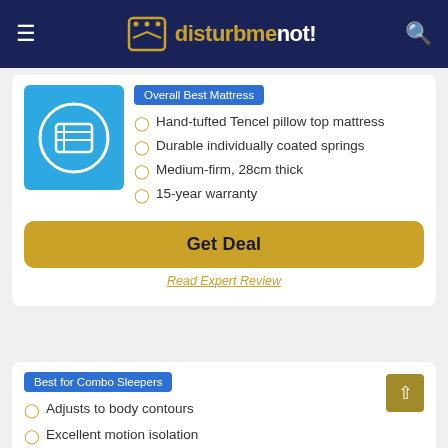disturbmenot!
[Figure (logo): Mattress brand logo on blue background with circle and grid icon]
Overall Best Mattress
Hand-tufted Tencel pillow top mattress
Durable individually coated springs
Medium-firm, 28cm thick
15-year warranty
Get Deal
Read Expert Review
Best for Combo Sleepers
[Figure (logo): Emma The Sleep Company logo]
Adjusts to body contours
Excellent motion isolation